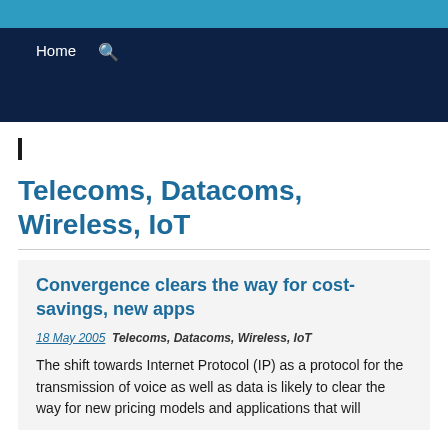Home  🔍
Telecoms, Datacoms, Wireless, IoT
Convergence clears the way for cost-savings, new apps
18 May 2005  Telecoms, Datacoms, Wireless, IoT
The shift towards Internet Protocol (IP) as a protocol for the transmission of voice as well as data is likely to clear the way for new pricing models and applications that will